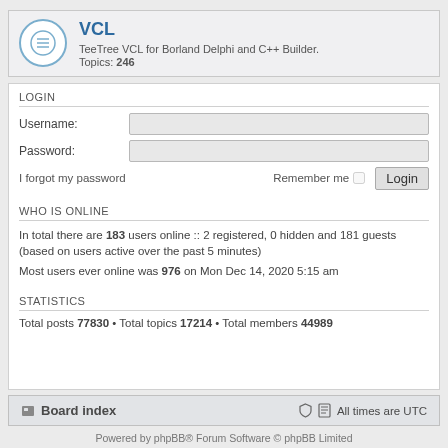VCL — TeeTree VCL for Borland Delphi and C++ Builder. Topics: 246
LOGIN
Username:
Password:
I forgot my password   Remember me  Login
WHO IS ONLINE
In total there are 183 users online :: 2 registered, 0 hidden and 181 guests (based on users active over the past 5 minutes)
Most users ever online was 976 on Mon Dec 14, 2020 5:15 am
STATISTICS
Total posts 77830 • Total topics 17214 • Total members 44989
Board index   All times are UTC
Powered by phpBB® Forum Software © phpBB Limited